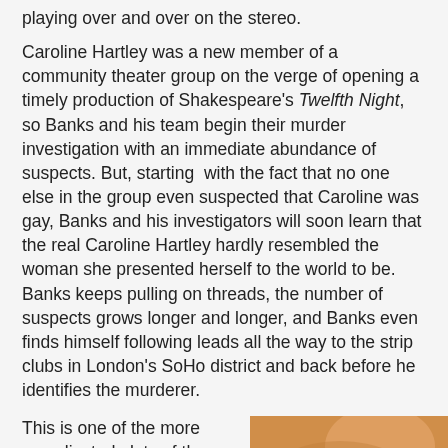playing over and over on the stereo.
Caroline Hartley was a new member of a community theater group on the verge of opening a timely production of Shakespeare's Twelfth Night, so Banks and his team begin their murder investigation with an immediate abundance of suspects. But, starting with the fact that no one else in the group even suspected that Caroline was gay, Banks and his investigators will soon learn that the real Caroline Hartley hardly resembled the woman she presented herself to the world to be. Banks keeps pulling on threads, the number of suspects grows longer and longer, and Banks even finds himself following leads all the way to the strip clubs in London's SoHo district and back before he identifies the murderer.
This is one of the more complicated plots of the early Inspector
[Figure (photo): A warm orange/tan colored photo, partially visible, showing what appears to be a person or animal against an orange background.]